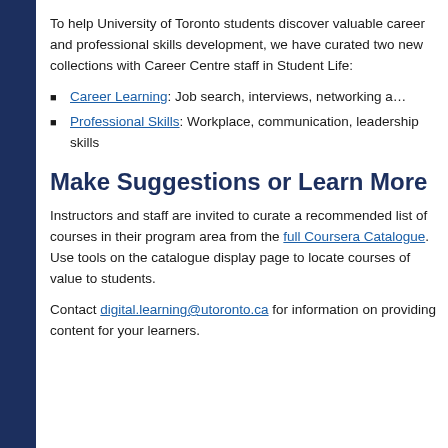To help University of Toronto students discover valuable career and professional skills development, we have curated two new collections with Career Centre staff in Student Life:
Career Learning: Job search, interviews, networking a…
Professional Skills: Workplace, communication, leadership skills
Make Suggestions or Learn More
Instructors and staff are invited to curate a recommended list of courses in their program area from the full Coursera Catalogue. Use tools on the catalogue display page to locate courses of value to students.
Contact digital.learning@utoronto.ca for information on providing content for your learners.